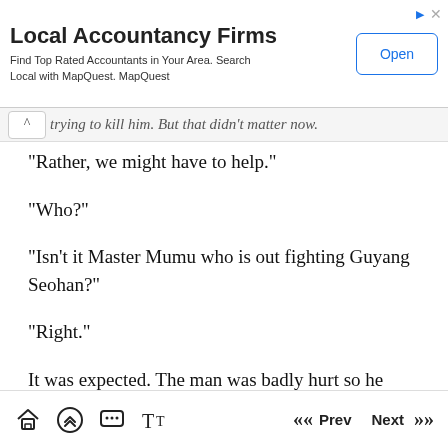[Figure (screenshot): Advertisement banner for Local Accountancy Firms with Open button]
trying to kill him. But that didn't matter now.
"Rather, we might have to help."
"Who?"
"Isn't it Master Mumu who is out fighting Guyang Seohan?"
"Right."
It was expected. The man was badly hurt so he
Home  Prev  Next